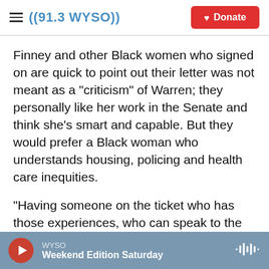((91.3 WYSO)) | Donate
Finney and other Black women who signed on are quick to point out their letter was not meant as a "criticism" of Warren; they personally like her work in the Senate and think she's smart and capable. But they would prefer a Black woman who understands housing, policing and health care inequities.
"Having someone on the ticket who has those experiences, who can speak to the disparities not because of what they read or because of what they've studied, but because of what they've experienced in their lives and in the lives of the
WYSO | Weekend Edition Saturday